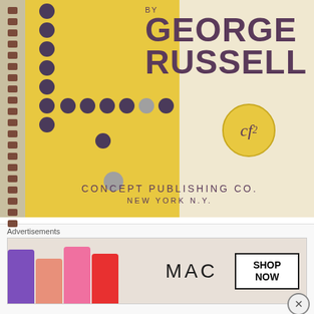[Figure (photo): Book cover of a music theory work by George Russell, published by Concept Publishing Co., New York NY. Yellow geometric rectangles with purple/dark dots arranged in a grid pattern. Spiral binding visible on left edge.]
For further study:
George Russell...